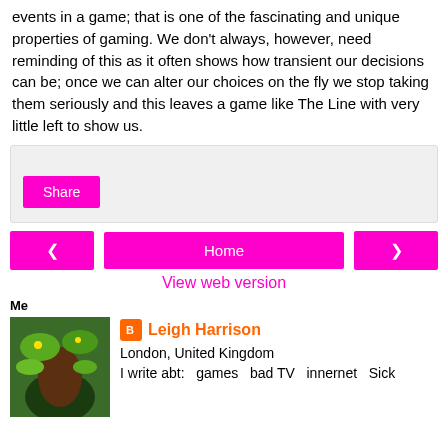events in a game; that is one of the fascinating and unique properties of gaming. We don't always, however, need reminding of this as it often shows how transient our decisions can be; once we can alter our choices on the fly we stop taking them seriously and this leaves a game like The Line with very little left to show us.
[Figure (other): Share button area with grey background box and magenta Share button]
[Figure (other): Navigation row with magenta left arrow button, Home button, and right arrow button]
View web version
Me
[Figure (photo): Profile photo showing a person with large green iguanas]
Leigh Harrison
London, United Kingdom
I write abt: games bad TV innernet Sick